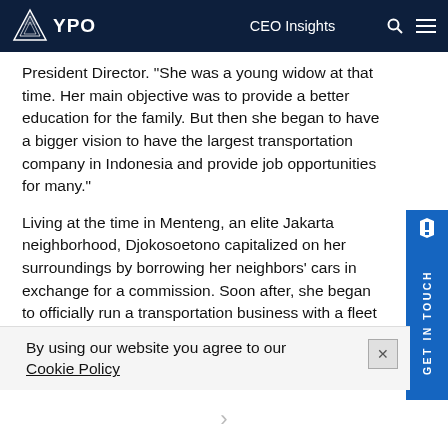YPO | CEO Insights
President Director. “She was a young widow at that time. Her main objective was to provide a better education for the family. But then she began to have a bigger vision to have the largest transportation company in Indonesia and provide job opportunities for many.”
Living at the time in Menteng, an elite Jakarta neighborhood, Djokosoetono capitalized on her surroundings by borrowing her neighbors’ cars in exchange for a commission. Soon after, she began to officially run a transportation business with a fleet of 25 taxis with her sons as drivers and her daughter as the receptionist.
By using our website you agree to our Cookie Policy